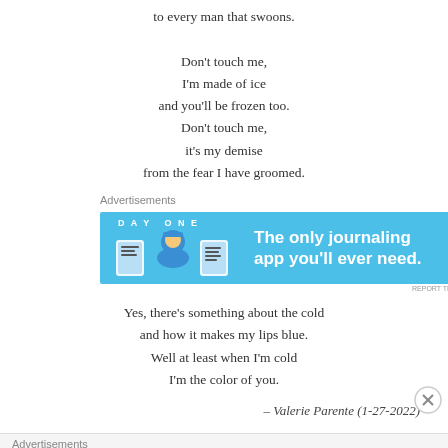to every man that swoons.

Don't touch me,
I'm made of ice
and you'll be frozen too.
Don't touch me,
it's my demise
from the fear I have groomed.
Advertisements
[Figure (other): DAY ONE app advertisement banner — blue background with icons of a journal, person, and notepad, with text: The only journaling app you'll ever need.]
Yes, there's something about the cold
and how it makes my lips blue.
Well at least when I'm cold
I'm the color of you.
– Valerie Parente (1-27-2022)
Advertisements
Advertisements